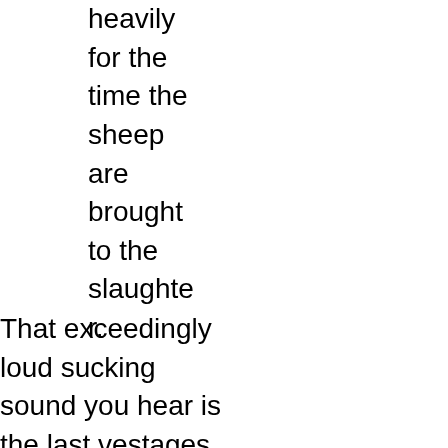heavily
for the
time the
sheep
are
brought
to the
slaughte
r.
That exceedingly loud sucking sound you hear is the last vestages of sanity leaving the argument